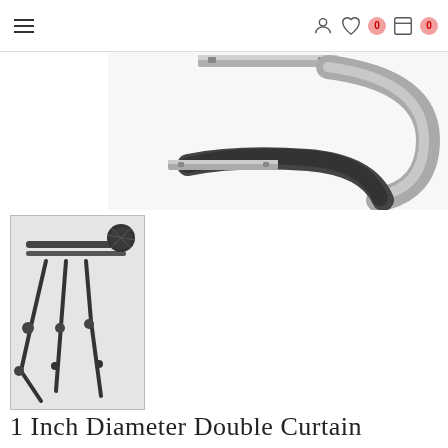[Figure (logo): SALE logo with red hanging circles spelling S-A-L-E from a horizontal red bar]
[Figure (photo): Close-up of a curtain rod bracket, silver/chrome C-shaped hook with mounting plate, shown from an angle]
[Figure (photo): Thumbnail product image showing dark bronze/black double curtain rod set with decorative globe finials and brackets]
1 Inch Diameter Double Curtain